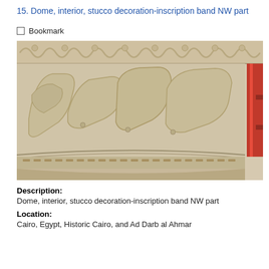15. Dome, interior, stucco decoration-inscription band NW part
Bookmark
[Figure (photo): Photograph of dome interior showing stucco decoration with Arabic calligraphic inscription band in NW part. The image shows carved Arabic script in raised relief on a pale stone/plaster surface, with decorative borders above and below the inscription band. A red metal support/scaffold pole is visible on the right edge.]
Description:
Dome, interior, stucco decoration-inscription band NW part
Location:
Cairo, Egypt, Historic Cairo, and Ad Darb al Ahmar